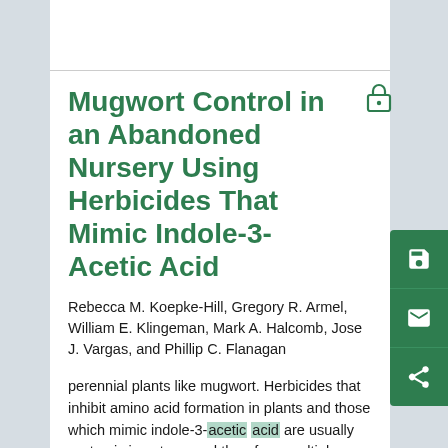Mugwort Control in an Abandoned Nursery Using Herbicides That Mimic Indole-3-Acetic Acid
Rebecca M. Koepke-Hill, Gregory R. Armel, William E. Klingeman, Mark A. Halcomb, Jose J. Vargas, and Phillip C. Flanagan
perennial plants like mugwort. Herbicides that inhibit amino acid formation in plants and those which mimic indole-3-acetic acid are usually systemic in nature, and therefore, multiple herbicides in these classes of chemistry often have some activity on